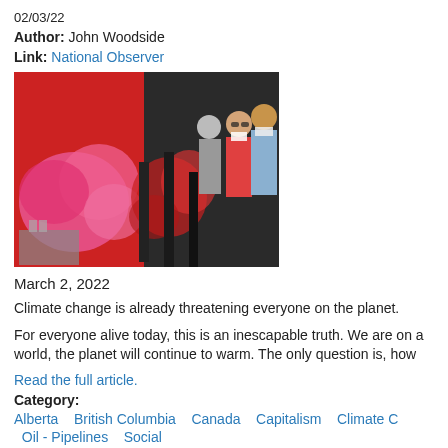02/03/22
Author: John Woodside
Link: National Observer
[Figure (photo): People wearing face masks standing in front of a red background with pink and red smoke/steam rising from industrial stacks]
March 2, 2022
Climate change is already threatening everyone on the planet.
For everyone alive today, this is an inescapable truth. We are on a world, the planet will continue to warm. The only question is, how
Read the full article.
Category:
Alberta   British Columbia   Canada   Capitalism   Climate C   Oil - Pipelines   Social
Read more